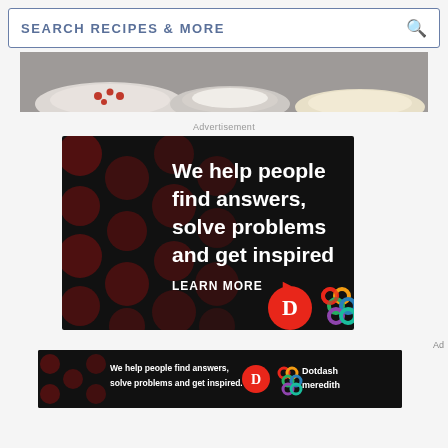SEARCH RECIPES & MORE
[Figure (photo): Top-down photo of bowls with ingredients on a gray surface]
Advertisement
[Figure (other): Dotdash Meredith advertisement: black background with dark red polka dots, white bold text reading 'We help people find answers, solve problems and get inspired.' with a red period. 'LEARN MORE' with red arrow. Dotdash D logo in red circle and colorful Meredith knot logo.]
[Figure (other): Smaller Dotdash Meredith banner ad repeating the tagline with logos and 'Dotdash meredith' text]
Ad